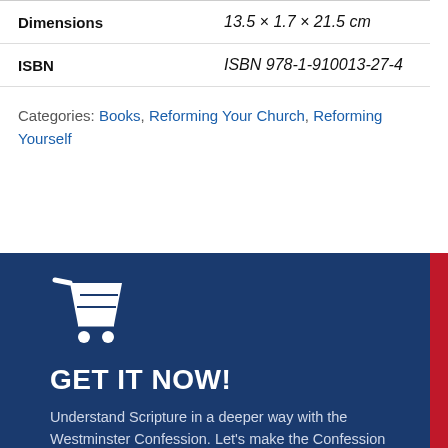| Property | Value |
| --- | --- |
| Dimensions | 13.5 × 1.7 × 21.5 cm |
| ISBN | ISBN 978-1-910013-27-4 |
Categories: Books, Reforming Your Church, Reforming Yourself
[Figure (infographic): Dark blue banner with shopping cart icon, 'GET IT NOW!' heading, and text 'Understand Scripture in a deeper way with the Westminster Confession. Let's make the Confession accessible for everyone as we teach']